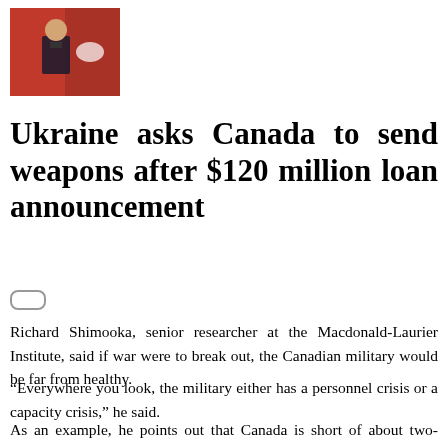[Figure (photo): Photo of a person in a dark suit in front of red flags or banners]
Ukraine asks Canada to send weapons after $120 million loan announcement
[Figure (other): Small share/bookmark icon button]
Richard Shimooka, senior researcher at the Macdonald-Laurier Institute, said if war were to break out, the Canadian military would be far from healthy.
“Everywhere you look, the military either has a personnel crisis or a capacity crisis,” he said.
As an example, he points out that Canada is short of about two-thirds of its pilot strength, as well as critical shortages in key